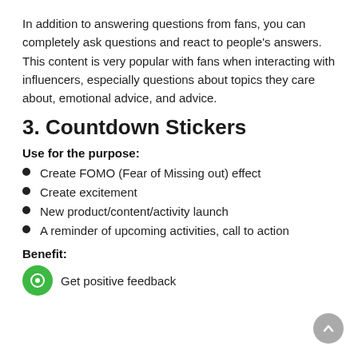In addition to answering questions from fans, you can completely ask questions and react to people's answers. This content is very popular with fans when interacting with influencers, especially questions about topics they care about, emotional advice, and advice.
3. Countdown Stickers
Use for the purpose:
Create FOMO (Fear of Missing out) effect
Create excitement
New product/content/activity launch
A reminder of upcoming activities, call to action
Benefit:
Get positive feedback